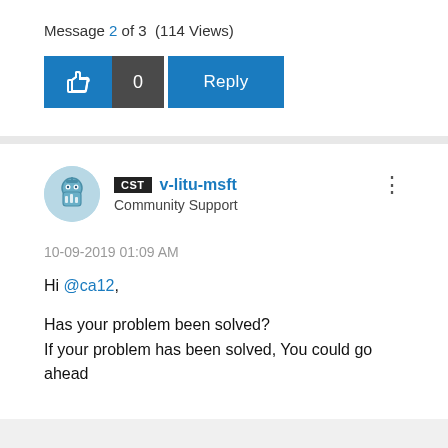Message 2 of 3  (114 Views)
[Figure (screenshot): Thumbs up like button with count 0 and Reply button]
[Figure (photo): User avatar for v-litu-msft]
CST  v-litu-msft
Community Support
10-09-2019 01:09 AM
Hi @ca12,
Has your problem been solved?
If your problem has been solved, You could go ahead